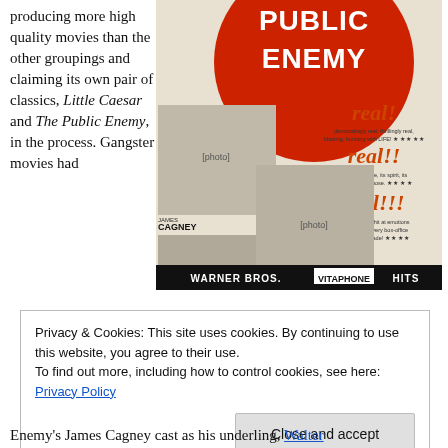producing more high quality movies than the other groupings and claiming its own pair of classics, Little Caesar and The Public Enemy, in the process. Gangster movies had
[Figure (photo): Vintage movie poster for The Public Enemy (Warner Bros. Vitaphone Hits) featuring James Cagney, Jean Harlow, and Donald Cook, with large red circle and text reading 'PUBLIC ENEMY real! real!! real!!!']
Privacy & Cookies: This site uses cookies. By continuing to use this website, you agree to their use. To find out more, including how to control cookies, see here: Privacy Policy
Close and accept
Enemy's James Cagney cast as his underling, Walter